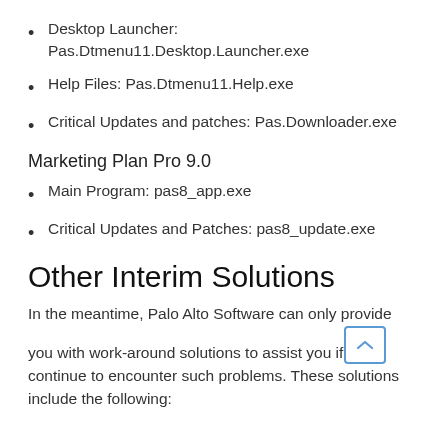Desktop Launcher: Pas.Dtmenu11.Desktop.Launcher.exe
Help Files: Pas.Dtmenu11.Help.exe
Critical Updates and patches: Pas.Downloader.exe
Marketing Plan Pro 9.0
Main Program: pas8_app.exe
Critical Updates and Patches: pas8_update.exe
Other Interim Solutions
In the meantime, Palo Alto Software can only provide you with work-around solutions to assist you if you continue to encounter such problems. These solutions include the following: